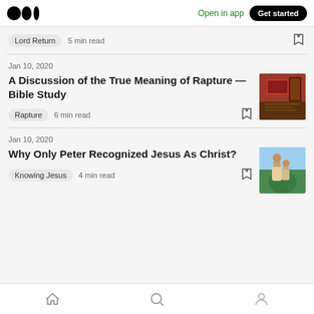Medium logo | Open in app | Get started
Lord Return  5 min read
Jan 10, 2020
A Discussion of the True Meaning of Rapture — Bible Study
Rapture  6 min read
Jan 10, 2020
Why Only Peter Recognized Jesus As Christ?
Knowing Jesus  4 min read
Home | Search | Profile